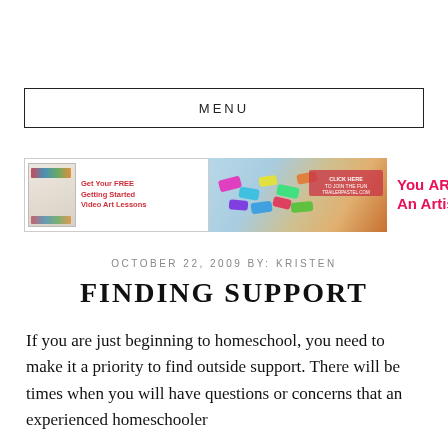MENU
[Figure (infographic): Banner advertisement for art lessons website: left panel shows a book/guide thumbnail with colorful paint swatches and text 'Get Your FREE Getting Started Video Art Lessons'; center shows a photo of colorful chalk pieces; right panel shows red text 'You ARE An Artist!' with a pink 'CLICK HERE TO JOIN THE FUN' overlay on the photo.]
OCTOBER 22, 2009 BY: KRISTEN
FINDING SUPPORT
If you are just beginning to homeschool, you need to make it a priority to find outside support. There will be times when you will have questions or concerns that an experienced homeschooler